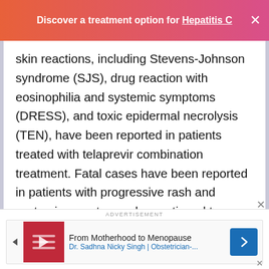Discover a treatment option for Hepatitis C
skin reactions, including Stevens-Johnson syndrome (SJS), drug reaction with eosinophilia and systemic symptoms (DRESS), and toxic epidermal necrolysis (TEN), have been reported in patients treated with telaprevir combination treatment. Fatal cases have been reported in patients with progressive rash and systemic symptoms who continued to receive telaprevir combination treatment after a serious skin reaction was identified. For serious skin reactions, including rash with systemic symptoms or a progressive severe rash, telaprevir, peginterferon
[Figure (infographic): Advertisement banner: From Motherhood to Menopause - Dr. Sadhna Nicky Singh | Obstetrician-... with red image, play arrow, and navigation icon]